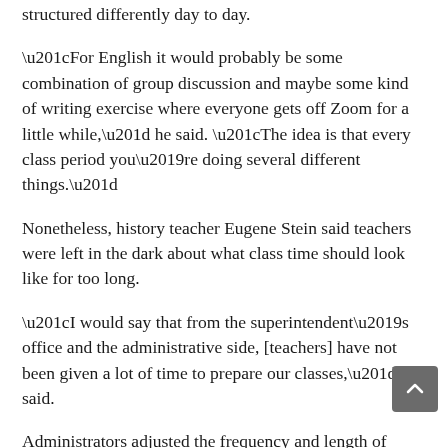English teacher yet similar but that will be structured differently day to day.
“For English it would probably be some combination of group discussion and maybe some kind of writing exercise where everyone gets off Zoom for a little while,” he said. “The idea is that every class period you’re doing several different things.”
Nonetheless, history teacher Eugene Stein said teachers were left in the dark about what class time should look like for too long.
“I would say that from the superintendent’s office and the administrative side, [teachers] have not been given a lot of time to prepare our classes,” he said.
Administrators adjusted the frequency and length of